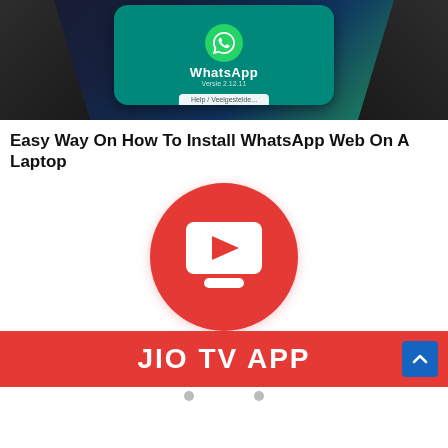[Figure (photo): A hand holding a smartphone displaying the WhatsApp application screen with teal background and WhatsApp logo and version number visible. A help/settings bar visible at the bottom of the phone screen.]
Easy Way On How To Install WhatsApp Web On A Laptop
[Figure (logo): JIO TV APP logo — a red circle containing a white TV/monitor icon with a play button triangle, and a red banner below reading 'JIO TV APP' in large white bold text, with a blue up-arrow button on the right.]